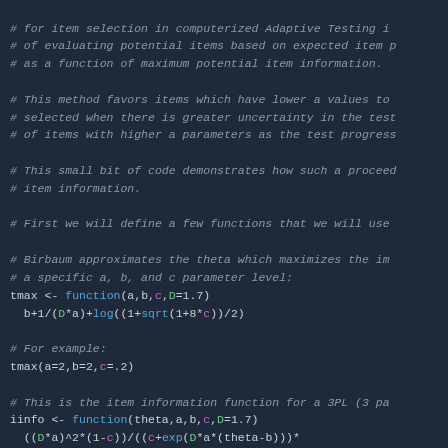# for item selection in computerized Adaptive Testing i
# of evaluating potential items based on expected item p
# as a function of maximum potential item information.
# This method favors items which have lower a values to
# selected when there is greater uncertainty in the test
# of items with higher a parameters as the test progress
# This small bit of code demonstrates how such a proceed
# item information.
# First we will define a few functions that we will use
# Birbaum approximates the theta which maximizes the im
# a specific a, b, and c parameter level:
tmax <- function(a,b,c,D=1.7)
  b+1/(D*a)+log((1+sqrt(1+8*c))/2)
# For example:
tmax(a=2,b=2,c=.2)
# This is the item information function for a 3PL (3 pa
iinfo <- function(theta,a,b,c,D=1.7)
  ((D*a)^2*(1-c))/((c+exp(D*a*(theta-b)))*
              (1+exp(-D*a*(theta-b)))^2)
iinfo(theta=0,a=1,b=0,c=.1)